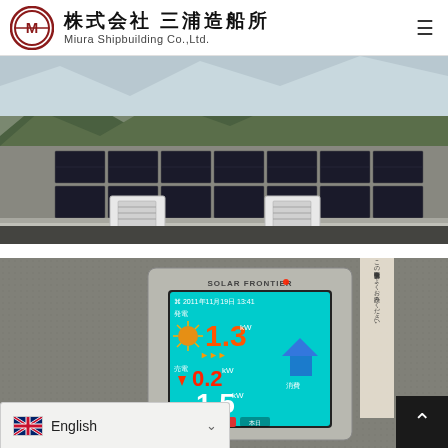株式会社 三浦造船所 / Miura Shipbuilding Co.,Ltd.
[Figure (photo): Aerial view of rooftop solar panels installed on a building roof, with two white HVAC outdoor units visible. Mountains and trees visible in the background.]
[Figure (photo): Solar power monitoring device (Solar Frontier brand) showing display screen with generation data: 発電 1.3kW, 売電 0.2kW, 消費 1.5kW. Datetime shown: 2011年11月19日 13:41]
English
^